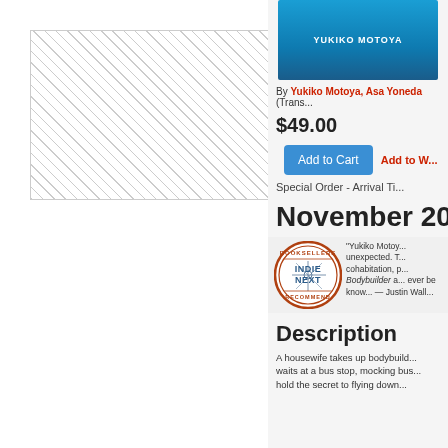[Figure (illustration): Hatched/diagonal pattern placeholder box on left panel, representing book cover image area]
[Figure (illustration): Book cover image for Yukiko Motoya title with blue gradient background and author name text]
By Yukiko Motoya, Asa Yoneda (Trans...
$49.00
Add to Cart   Add to W...
Special Order - Arrival Ti...
November 2018
[Figure (logo): Booksellers Indie Next Recommend circular badge/stamp logo]
"Yukiko Motoy... unexpected. T... cohabitation, p... Bodybuilder a... ever be know... — Justin Wall...
Description
A housewife takes up bodybuild... waits at a bus stop, mocking bus... hold the secret to flying down...